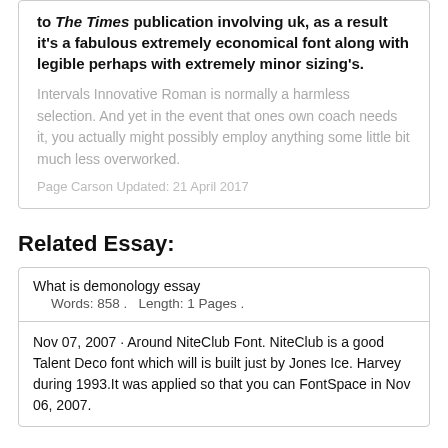to The Times publication involving uk, as a result it's a fabulous extremely economical font along with legible perhaps with extremely minor sizing's.
Intervals Innovative Roman is normally a harmless selection. And yet in the event that ones own coach needs it, you actually might possibly employ anything some little bit much less overworked.
Page Carson Updated: 21 April 2017
Related Essay:
| What is demonology essay | Words: 858 .   Length: 1 Pages . |
| Nov 07, 2007 · Around NiteClub Font. NiteClub is a good Talent Deco font which will is built just by Jones Ice. Harvey during 1993.It was applied so that you can FontSpace in Nov 06, 2007. |  |